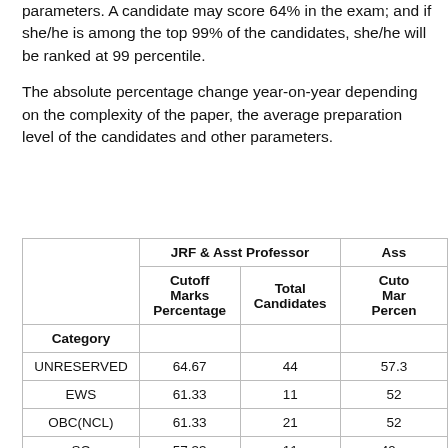parameters. A candidate may score 64% in the exam; and if she/he is among the top 99% of the candidates, she/he will be ranked at 99 percentile.
The absolute percentage change year-on-year depending on the complexity of the paper, the average preparation level of the candidates and other parameters.
| Category | JRF & Asst Professor / Cutoff Marks Percentage | JRF & Asst Professor / Total Candidates | Asst / Cutoff Marks Percentage |
| --- | --- | --- | --- |
| UNRESERVED | 64.67 | 44 | 57.3 |
| EWS | 61.33 | 11 | 52 |
| OBC(NCL) | 61.33 | 21 | 52 |
| SC | 57.33 | 11 | 49... |